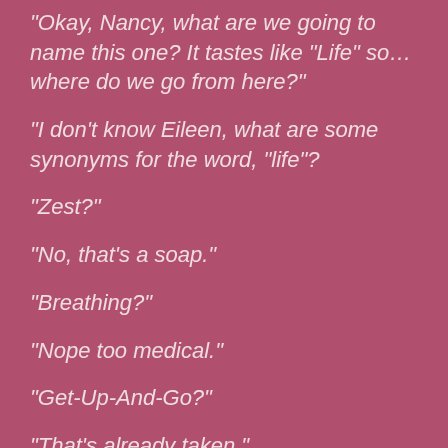"Okay, Nancy, what are we going to name this one? It tastes like “Life” so…where do we go from here?"
“I don’t know Eileen, what are some synonyms for the word, “life”?
“Zest?”
“No, that’s a soap.”
“Breathing?”
“Nope too medical.”
“Get-Up-And-Go?”
“That’s already taken.”